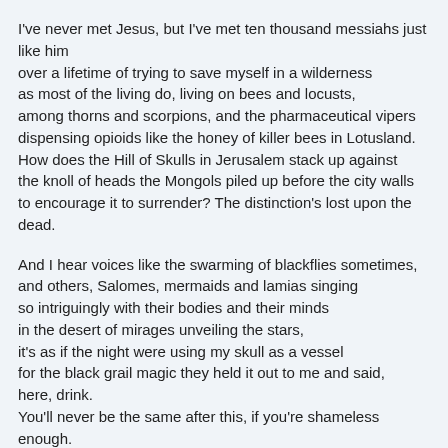I've never met Jesus, but I've met ten thousand messiahs just like him
over a lifetime of trying to save myself in a wilderness
as most of the living do, living on bees and locusts,
among thorns and scorpions, and the pharmaceutical vipers
dispensing opioids like the honey of killer bees in Lotusland.
How does the Hill of Skulls in Jerusalem stack up against
the knoll of heads the Mongols piled up before the city walls
to encourage it to surrender? The distinction's lost upon the dead.
And I hear voices like the swarming of blackflies sometimes,
and others, Salomes, mermaids and lamias singing
so intriguingly with their bodies and their minds
in the desert of mirages unveiling the stars,
it's as if the night were using my skull as a vessel
for the black grail magic they held it out to me and said,
here, drink.
You'll never be the same after this, if you're shameless enough.